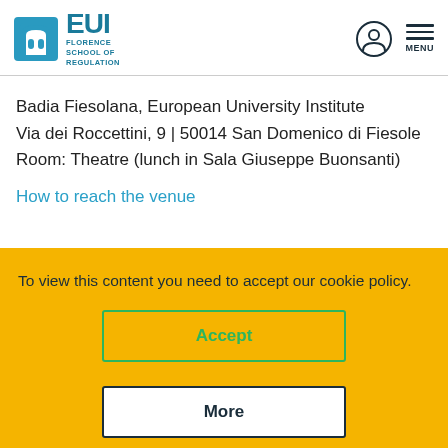EUI Florence School of Regulation
Badia Fiesolana, European University Institute
Via dei Roccettini, 9 | 50014 San Domenico di Fiesole
Room: Theatre (lunch in Sala Giuseppe Buonsanti)
How to reach the venue
To view this content you need to accept our cookie policy.
Accept
More